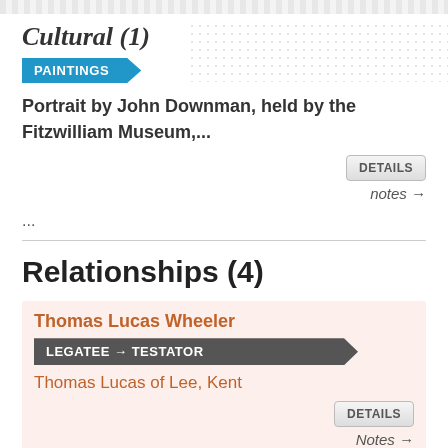Cultural (1)
PAINTINGS
Portrait by John Downman, held by the Fitzwilliam Museum,...
...
Relationships (4)
Thomas Lucas Wheeler
LEGATEE → TESTATOR
Thomas Lucas of Lee, Kent
Thomas Lucas Wheeler was the residuary